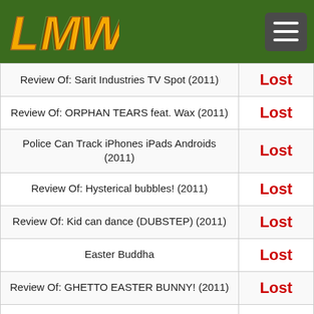LMW logo and navigation
| Title | Status |
| --- | --- |
| Review Of: Sarit Industries TV Spot (2011) | Lost |
| Review Of: ORPHAN TEARS feat. Wax (2011) | Lost |
| Police Can Track iPhones iPads Androids (2011) | Lost |
| Review Of: Hysterical bubbles! (2011) | Lost |
| Review Of: Kid can dance (DUBSTEP) (2011) | Lost |
| Easter Buddha | Lost |
| Review Of: GHETTO EASTER BUNNY! (2011) | Lost |
| Review Of: Let's Play Minecraft #214 Deutsch HD (2011) | Lost |